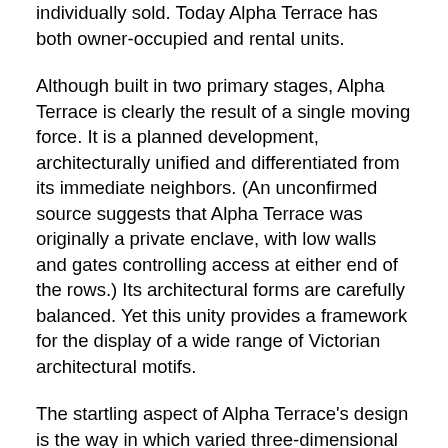individually sold. Today Alpha Terrace has both owner-occupied and rental units.
Although built in two primary stages, Alpha Terrace is clearly the result of a single moving force. It is a planned development, architecturally unified and differentiated from its immediate neighbors. (An unconfirmed source suggests that Alpha Terrace was originally a private enclave, with low walls and gates controlling access at either end of the rows.) Its architectural forms are carefully balanced. Yet this unity provides a framework for the display of a wide range of Victorian architectural motifs.
The startling aspect of Alpha Terrace's design is the way in which varied three-dimensional forms are repeatedly employed in a rowhousing context. Each narrow facade, though clearly of superficial depth, assumes the guise of the free-standing picturesque Victorian house which typifies early development in